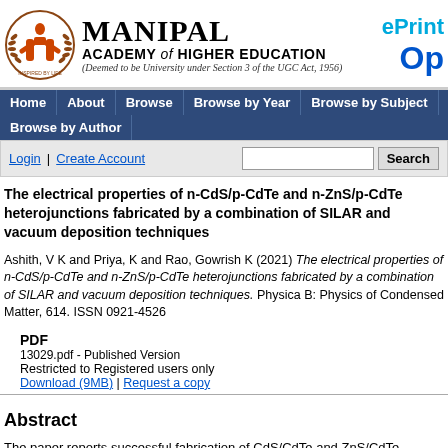[Figure (logo): Manipal Academy of Higher Education logo with circular emblem and university name]
ePrint Op
Home | About | Browse | Browse by Year | Browse by Subject | Browse by Author
Login | Create Account   Search
The electrical properties of n-CdS/p-CdTe and n-ZnS/p-CdTe heterojunctions fabricated by a combination of SILAR and vacuum deposition techniques
Ashith, V K and Priya, K and Rao, Gowrish K (2021) The electrical properties of n-CdS/p-CdTe and n-ZnS/p-CdTe heterojunctions fabricated by a combination of SILAR and vacuum deposition techniques. Physica B: Physics of Condensed Matter, 614. ISSN 0921-4526
PDF
13029.pdf - Published Version
Restricted to Registered users only
Download (9MB) | Request a copy
Abstract
The paper reports successful fabrication of CdS/CdTe and ZnS/CdTe